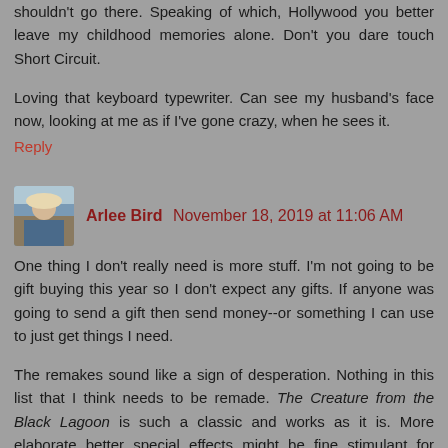shouldn't go there. Speaking of which, Hollywood you better leave my childhood memories alone. Don't you dare touch Short Circuit.
Loving that keyboard typewriter. Can see my husband's face now, looking at me as if I've gone crazy, when he sees it.
Reply
Arlee Bird November 18, 2019 at 11:06 AM
One thing I don't really need is more stuff. I'm not going to be gift buying this year so I don't expect any gifts. If anyone was going to send a gift then send money--or something I can use to just get things I need.
The remakes sound like a sign of desperation. Nothing in this list that I think needs to be remade. The Creature from the Black Lagoon is such a classic and works as it is. More elaborate better special effects might be fine stimulant for movie goers, but I don't know that a remake would especially improve on what is already there. I have the 3